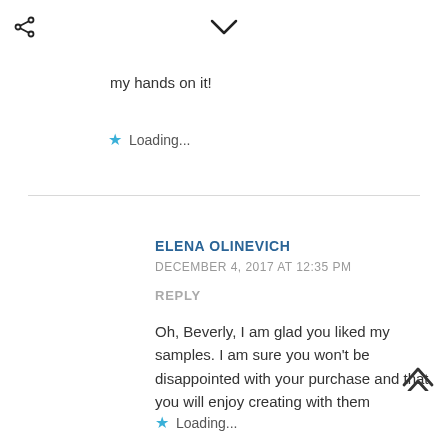my hands on it!
Loading...
ELENA OLINEVICH
DECEMBER 4, 2017 AT 12:35 PM
REPLY
Oh, Beverly, I am glad you liked my samples. I am sure you won't be disappointed with your purchase and that you will enjoy creating with them
Loading...